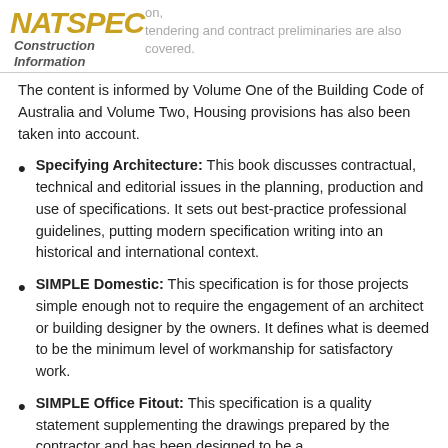NATSPEC Construction Information
tendering and contract preliminaries are also covered.
The content is informed by Volume One of the Building Code of Australia and Volume Two, Housing provisions has also been taken into account.
Specifying Architecture: This book discusses contractual, technical and editorial issues in the planning, production and use of specifications. It sets out best-practice professional guidelines, putting modern specification writing into an historical and international context.
SIMPLE Domestic: This specification is for those projects simple enough not to require the engagement of an architect or building designer by the owners. It defines what is deemed to be the minimum level of workmanship for satisfactory work.
SIMPLE Office Fitout: This specification is a quality statement supplementing the drawings prepared by the contractor and has been designed to be a